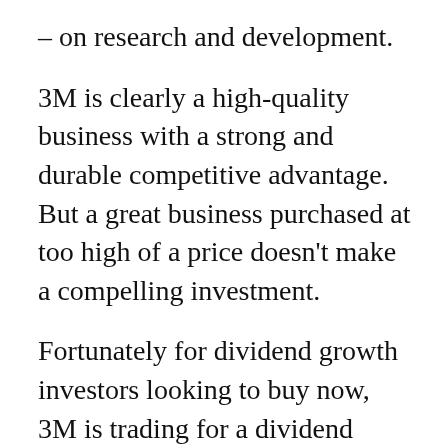– on research and development.
3M is clearly a high-quality business with a strong and durable competitive advantage. But a great business purchased at too high of a price doesn't make a compelling investment.
Fortunately for dividend growth investors looking to buy now, 3M is trading for a dividend yield of more than 4%. This is a rare opportunity to lock in a high starting year for this quality dividend growth stock.